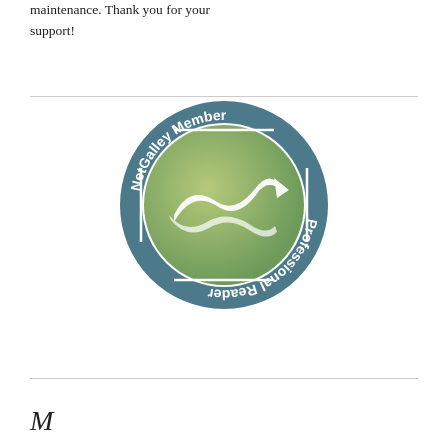maintenance. Thank you for your support!
[Figure (logo): NetGalley Member Professional Reader circular badge with swirl logo in green and teal/slate blue colors]
M...